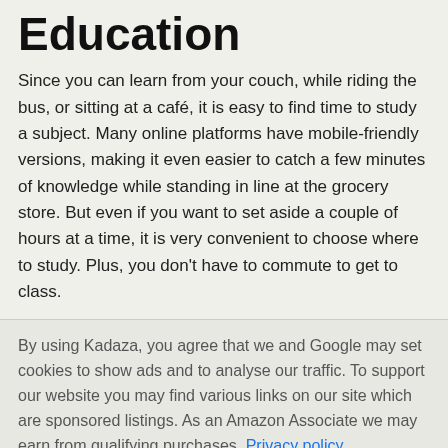Education
Since you can learn from your couch, while riding the bus, or sitting at a café, it is easy to find time to study a subject. Many online platforms have mobile-friendly versions, making it even easier to catch a few minutes of knowledge while standing in line at the grocery store. But even if you want to set aside a couple of hours at a time, it is very convenient to choose where to study. Plus, you don't have to commute to get to class.
By using Kadaza, you agree that we and Google may set cookies to show ads and to analyse our traffic. To support our website you may find various links on our site which are sponsored listings. As an Amazon Associate we may earn from qualifying purchases. Privacy policy.